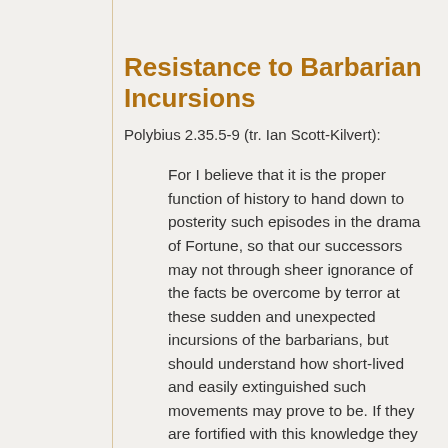Resistance to Barbarian Incursions
Polybius 2.35.5-9 (tr. Ian Scott-Kilvert):
For I believe that it is the proper function of history to hand down to posterity such episodes in the drama of Fortune, so that our successors may not through sheer ignorance of the facts be overcome by terror at these sudden and unexpected incursions of the barbarians, but should understand how short-lived and easily extinguished such movements may prove to be. If they are fortified with this knowledge they can face the invader and try their prospects of safety to the very limit before they yield